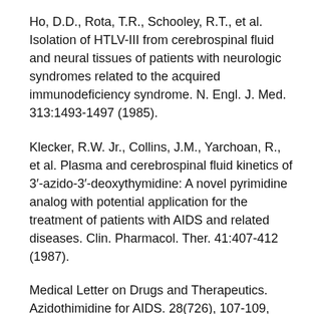Ho, D.D., Rota, T.R., Schooley, R.T., et al. Isolation of HTLV-III from cerebrospinal fluid and neural tissues of patients with neurologic syndromes related to the acquired immunodeficiency syndrome. N. Engl. J. Med. 313:1493-1497 (1985).
Klecker, R.W. Jr., Collins, J.M., Yarchoan, R., et al. Plasma and cerebrospinal fluid kinetics of 3'-azido-3'-deoxythymidine: A novel pyrimidine analog with potential application for the treatment of patients with AIDS and related diseases. Clin. Pharmacol. Ther. 41:407-412 (1987).
Medical Letter on Drugs and Therapeutics. Azidothimidine for AIDS. 28(726), 107-109, 1986.
Montagnier, L., Chermann, J.C., Barre-Sinoussi, F., et al. A new human T-lymphotropic retrovirus: Characterization